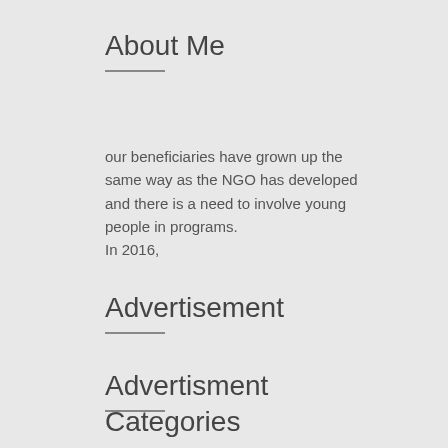About Me
our beneficiaries have grown up the same way as the NGO has developed and there is a need to involve young people in programs.
In 2016,
Advertisement
Advertisment
Categories